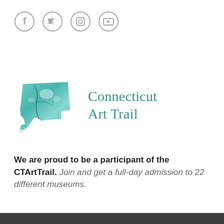[Figure (logo): Four social media icons in circles: Facebook, Twitter, Instagram, YouTube — gray outlined circles]
[Figure (logo): Connecticut Art Trail logo: teal/turquoise mineral-textured shape of Connecticut state outline next to text reading 'Connecticut Art Trail' in teal serif font]
We are proud to be a participant of the CTArtTrail. Join and get a full-day admission to 22 different museums.